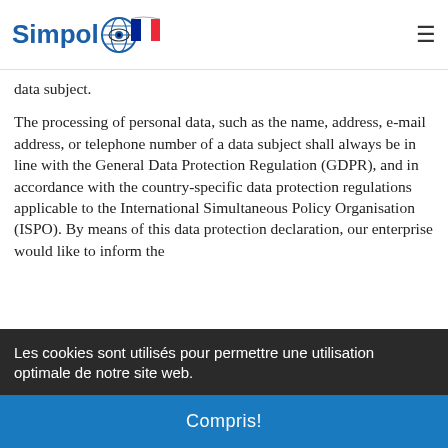[Figure (logo): Simpol logo with globe icon and French flag colors]
data subject.
The processing of personal data, such as the name, address, e-mail address, or telephone number of a data subject shall always be in line with the General Data Protection Regulation (GDPR), and in accordance with the country-specific data protection regulations applicable to the International Simultaneous Policy Organisation (ISPO). By means of this data protection declaration, our enterprise would like to inform the
Les cookies sont utilisés pour permettre une utilisation optimale de notre site web.
Compris!